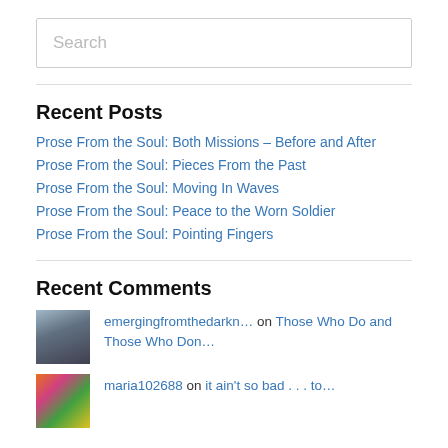Search
Recent Posts
Prose From the Soul: Both Missions – Before and After
Prose From the Soul: Pieces From the Past
Prose From the Soul: Moving In Waves
Prose From the Soul: Peace to the Worn Soldier
Prose From the Soul: Pointing Fingers
Recent Comments
emergingfromthedarkn… on Those Who Do and Those Who Don…
maria102688 on it ain't so bad . . . to…